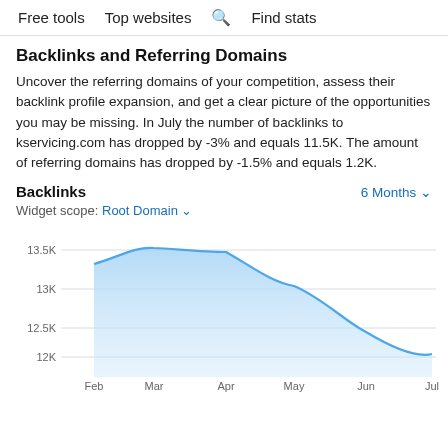Free tools   Top websites   🔍 Find stats
Backlinks and Referring Domains
Uncover the referring domains of your competition, assess their backlink profile expansion, and get a clear picture of the opportunities you may be missing. In July the number of backlinks to kservicing.com has dropped by -3% and equals 11.5K. The amount of referring domains has dropped by -1.5% and equals 1.2K.
Backlinks   6 Months ▾
Widget scope: Root Domain ▾
[Figure (area-chart): Backlinks]